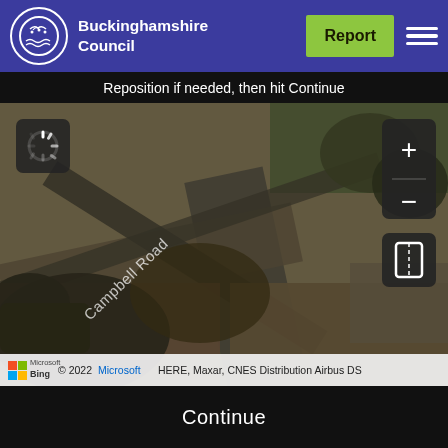Buckinghamshire Council
Reposition if needed, then hit Continue
[Figure (map): Aerial satellite map showing Campbell Road area from bird's eye view, with dark overlay. Shows road intersection from above with street label 'Campbell Road' visible diagonally.]
© 2022 Microsoft HERE, Maxar, CNES Distribution Airbus DS
Continue